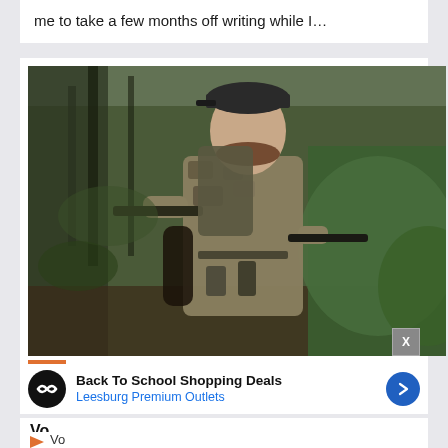me to take a few months off writing while I…
[Figure (photo): A man in camouflage gear and a baseball cap, carrying a rifle and backpack, standing in a wooded outdoor area with trees and green foliage in the background.]
Vo
Back To School Shopping Deals
Leesburg Premium Outlets
Vo
gi
X